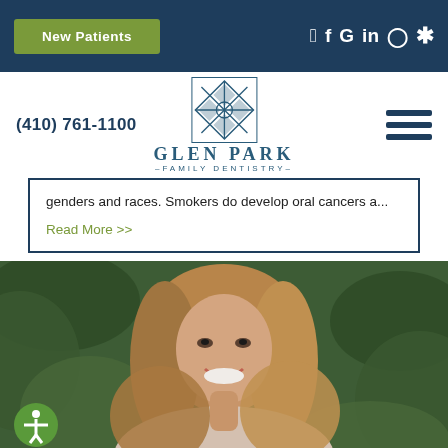New Patients | Social icons: f G in Instagram Yelp
[Figure (logo): Glen Park Family Dentistry logo with geometric snowflake-style icon and text]
(410) 761-1100
genders and races. Smokers do develop oral cancers a...
Read More >>
[Figure (photo): Portrait of a smiling woman with long blonde-brown hair in front of green foliage background]